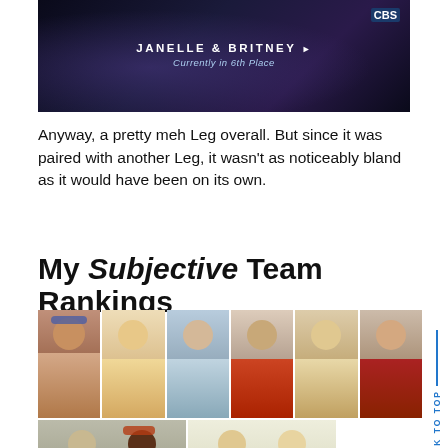[Figure (photo): Screenshot from a TV show showing text overlay 'JANELLE & BRITNEY Currently in 6th Place' on a dark background]
Anyway, a pretty meh Leg overall. But since it was paired with another Leg, it wasn't as noticeably bland as it would have been on its own.
My Subjective Team Rankings
[Figure (photo): Grid of team photos showing 8 teams of contestants from a reality TV show, arranged in two rows]
Rachel & Elissa had some bad taxi luck on this Leg. But unlike other teams who have disappointed in